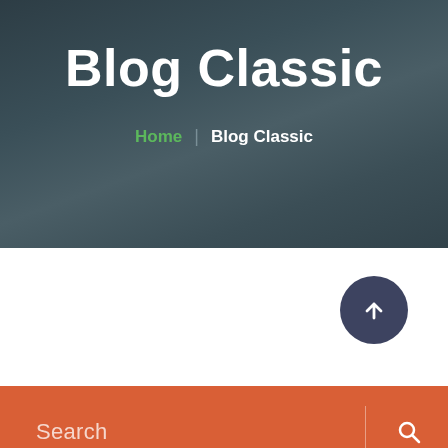Blog Classic
Home | Blog Classic
[Figure (other): Scroll-to-top circular button with upward arrow icon on dark blue-grey background]
Search